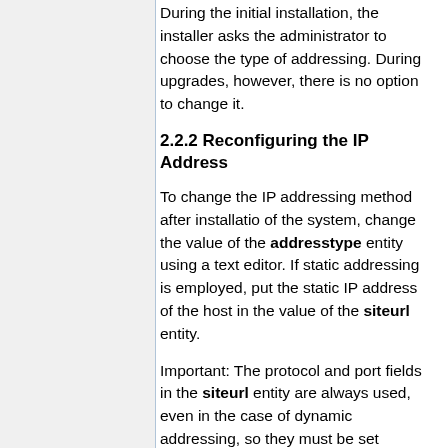During the initial installation, the installer asks the administrator to choose the type of addressing. During upgrades, however, there is no option to change it.
2.2.2 Reconfiguring the IP Address
To change the IP addressing method after installatio of the system, change the value of the addresstype entity using a text editor. If static addressing is employed, put the static IP address of the host in the value of the siteurl entity.
Important: The protocol and port fields in the siteurl entity are always used, even in the case of dynamic addressing, so they must be set correctly in all cases.
If an alphabetic value is inserted in the IP address field of the siteurl entity, the system will use that value for addressing and not obtain an IP address from the